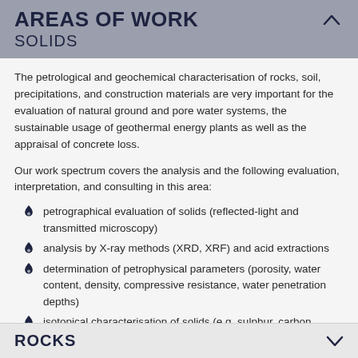AREAS OF WORK
SOLIDS
The petrological and geochemical characterisation of rocks, soil, precipitations, and construction materials are very important for the evaluation of natural ground and pore water systems, the sustainable usage of geothermal energy plants as well as the appraisal of concrete loss.
Our work spectrum covers the analysis and the following evaluation, interpretation, and consulting in this area:
petrographical evaluation of solids (reflected-light and transmitted microscopy)
analysis by X-ray methods (XRD, XRF) and acid extractions
determination of petrophysical parameters (porosity, water content, density, compressive resistance, water penetration depths)
isotopical characterisation of solids (e.g. sulphur, carbon, oxygen, nitrogen, strontium, uranium, and thorium isotopes).
ROCKS